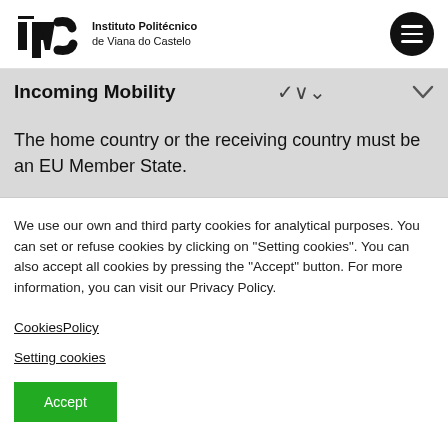Instituto Politécnico de Viana do Castelo
Incoming Mobility
The home country or the receiving country must be an EU Member State.
We use our own and third party cookies for analytical purposes. You can set or refuse cookies by clicking on "Setting cookies". You can also accept all cookies by pressing the "Accept" button. For more information, you can visit our Privacy Policy.
CookiesPolicy
Setting cookies
Accept